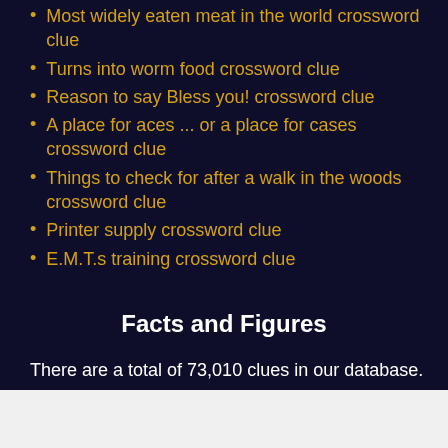Most widely eaten meat in the world crossword clue
Turns into worm food crossword clue
Reason to say Bless you! crossword clue
A place for aces ... or a place for cases crossword clue
Things to check for after a walk in the woods crossword clue
Printer supply crossword clue
E.M.T.s training crossword clue
Facts and Figures
There are a total of 73,010 clues in our database.